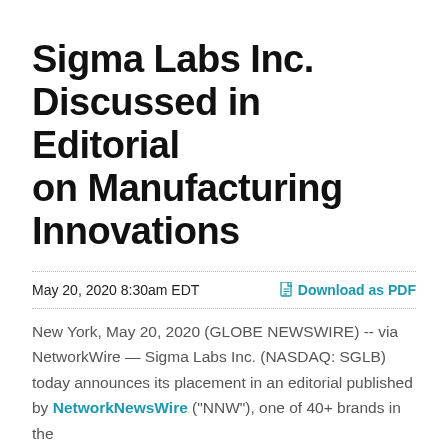Sigma Labs Inc. Discussed in Editorial on Manufacturing Innovations
May 20, 2020 8:30am EDT
Download as PDF
New York, May 20, 2020 (GLOBE NEWSWIRE) -- via NetworkWire — Sigma Labs Inc. (NASDAQ: SGLB) today announces its placement in an editorial published by NetworkNewsWire ("NNW"), one of 40+ brands in the